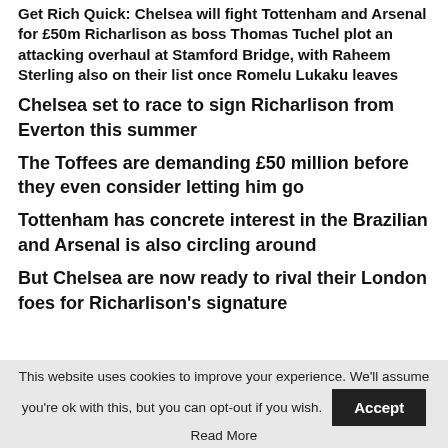Get Rich Quick: Chelsea will fight Tottenham and Arsenal for £50m Richarlison as boss Thomas Tuchel plot an attacking overhaul at Stamford Bridge, with Raheem Sterling also on their list once Romelu Lukaku leaves
Chelsea set to race to sign Richarlison from Everton this summer
The Toffees are demanding £50 million before they even consider letting him go
Tottenham has concrete interest in the Brazilian and Arsenal is also circling around
But Chelsea are now ready to rival their London foes for Richarlison's signature
This website uses cookies to improve your experience. We'll assume you're ok with this, but you can opt-out if you wish. Accept Read More